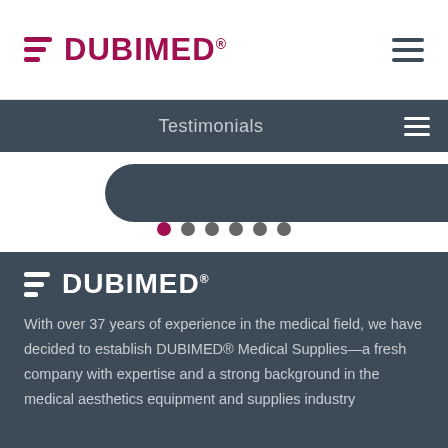[Figure (logo): DUBIMED logo with three horizontal lines in crimson/maroon color followed by DUBIMED text with registered trademark symbol, in crimson color on white background]
[Figure (logo): Hamburger menu icon (three horizontal dark lines) on white background]
Testimonials
[Figure (screenshot): Slider area showing two dark rounded rectangle buttons partially visible, with carousel dots below (6 dots, first dot is active/crimson colored, rest are gray)]
[Figure (logo): DUBIMED logo in white on dark slate background, with three horizontal white lines followed by DUBIMED text with registered trademark symbol]
With over 37 years of experience in the medical field, we have decided to establish DUBIMED® Medical Supplies—a fresh company with expertise and a strong background in the medical aesthetics equipment and supplies industry